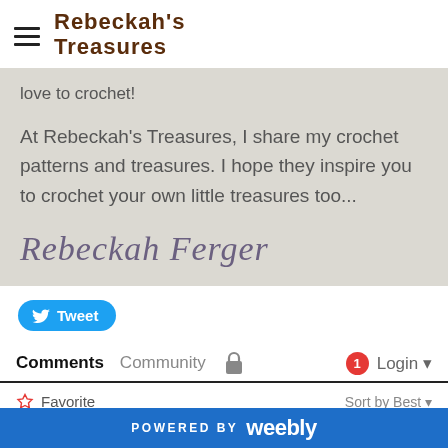Rebeckah's Treasures
love to crochet!
At Rebeckah's Treasures, I share my crochet patterns and treasures. I hope they inspire you to crochet your own little treasures too...
[Figure (illustration): Cursive signature reading 'Rebeckah Ferger']
[Figure (screenshot): Tweet button with Twitter bird icon]
Comments  Community  Login
Favorite  Sort by Best
POWERED BY weebly